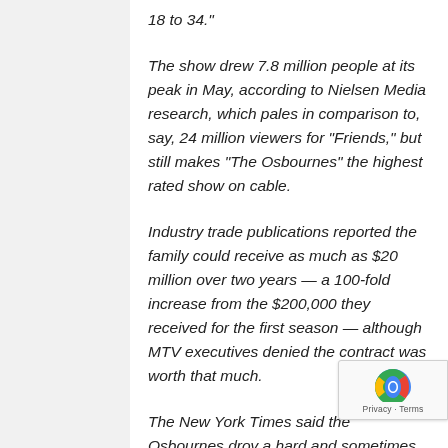18 to 34."
The show drew 7.8 million people at its peak in May, according to Nielsen Media research, which pales in comparison to, say, 24 million viewers for "Friends," but still makes "The Osbournes" the highest rated show on cable.
Industry trade publications reported the family could receive as much as $20 million over two years — a 100-fold increase from the $200,000 they received for the first season — although MTV executives denied the contract was worth that much.
The New York Times said the Osbournes drov a hard and sometimes bizarre bargain, askin for such things as a new house and lifetime